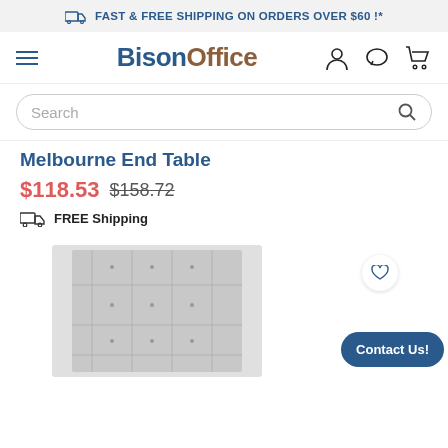FAST & FREE SHIPPING ON ORDERS OVER $60 !*
[Figure (logo): BisonOffice logo with hamburger menu and nav icons (user, chat, cart)]
Search
Melbourne End Table
$118.53 $158.72
FREE Shipping
[Figure (photo): Partial image of an ornate end table with floral/geometric pattern, shown from below the fold]